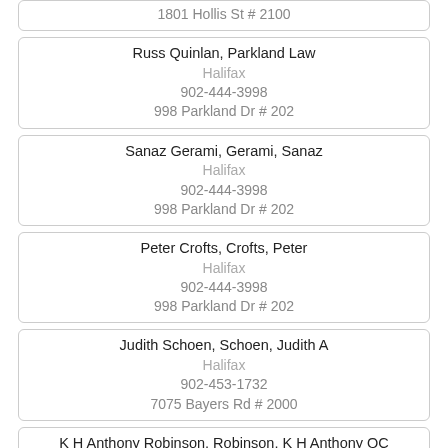1801 Hollis St # 2100
Russ Quinlan, Parkland Law
Halifax
902-444-3998
998 Parkland Dr # 202
Sanaz Gerami, Gerami, Sanaz
Halifax
902-444-3998
998 Parkland Dr # 202
Peter Crofts, Crofts, Peter
Halifax
902-444-3998
998 Parkland Dr # 202
Judith Schoen, Schoen, Judith A
Halifax
902-453-1732
7075 Bayers Rd # 2000
K H Anthony Robinson, Robinson, K H Anthony QC
Halifax
902-453-1732
7075 Bayers Rd # 2000
Kevin Mac Donald, Mac Donald, Kevin
Halifax